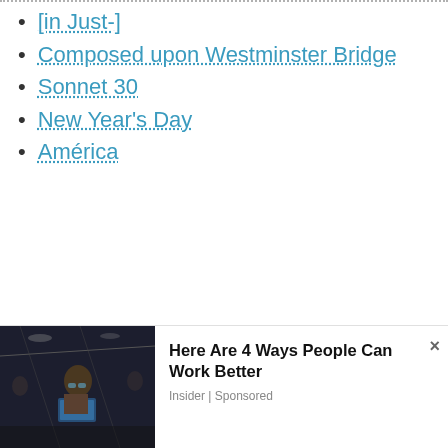[in Just-]
Composed upon Westminster Bridge
Sonnet 30
New Year's Day
América
[Figure (photo): Advertisement photo showing a person working on a laptop in an industrial setting]
Here Are 4 Ways People Can Work Better
Insider | Sponsored